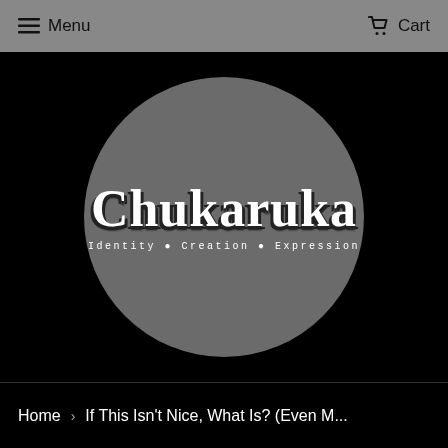Menu  Cart
[Figure (logo): Chukaruka brand logo: a large grey circle on a black background with the word 'Chukaruka' in white bold serif font and the tagline 'Identity • Creation • Expression' below in white monospace font]
Home › If This Isn't Nice, What Is? (Even M...